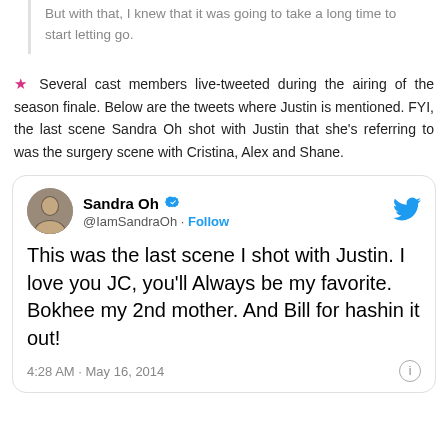But with that, I knew that it was going to take a long time to start letting go.
★ Several cast members live-tweeted during the airing of the season finale. Below are the tweets where Justin is mentioned. FYI, the last scene Sandra Oh shot with Justin that she's referring to was the surgery scene with Cristina, Alex and Shane.
[Figure (screenshot): Tweet from Sandra Oh (@IamSandraOh): 'This was the last scene I shot with Justin. I love you JC, you'll Always be my favorite. Bokhee my 2nd mother. And Bill for hashin it out!' Posted 4:28 AM · May 16, 2014]